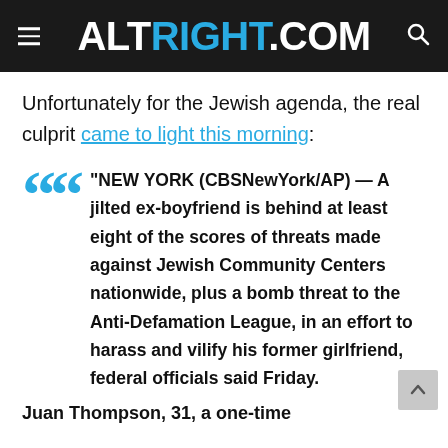ALTRIGHT.COM
Unfortunately for the Jewish agenda, the real culprit came to light this morning:
“NEW YORK (CBSNewYork/AP) — A jilted ex-boyfriend is behind at least eight of the scores of threats made against Jewish Community Centers nationwide, plus a bomb threat to the Anti-Defamation League, in an effort to harass and vilify his former girlfriend, federal officials said Friday.
Juan Thompson, 31, a one-time